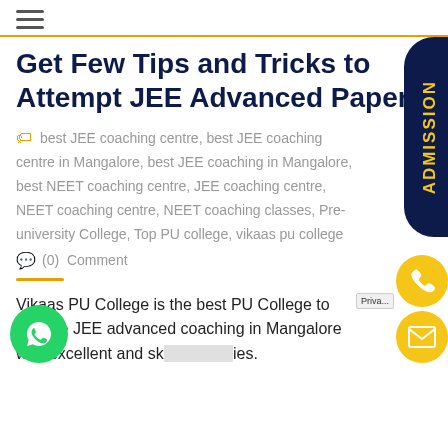☰ (hamburger menu icon)
Get Few Tips and Tricks to Attempt JEE Advanced Paper
best JEE coaching centre, best JEE coaching centre in Mangalore, best JEE coaching in Mangalore, best NEET coaching centre, JEE coaching centre, NEET coaching centre, NEET coaching classes, Pre-university College, Top PU college, vikaas pu college
(0)  Comment
Vikaas PU College is the best PU College to provide JEE advanced coaching in Mangalore with excellent and sk... ies.